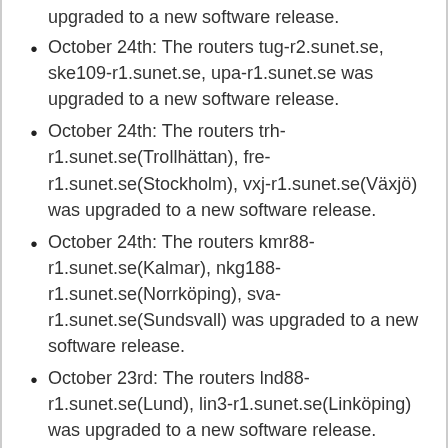upgraded to a new software release.
October 24th: The routers tug-r2.sunet.se, ske109-r1.sunet.se, upa-r1.sunet.se was upgraded to a new software release.
October 24th: The routers trh-r1.sunet.se(Trollhättan), fre-r1.sunet.se(Stockholm), vxj-r1.sunet.se(Växjö) was upgraded to a new software release.
October 24th: The routers kmr88-r1.sunet.se(Kalmar), nkg188-r1.sunet.se(Norrköping), sva-r1.sunet.se(Sundsvall) was upgraded to a new software release.
October 23rd: The routers lnd88-r1.sunet.se(Lund), lin3-r1.sunet.se(Linköping) was upgraded to a new software release.
October 23rd: The router gbg7-r1.sunet.se(Göteborg) was upgraded to a new software release.
October 23rd: The routers jkg-r1.sunet.se (Jönköping), ume8-r1.sunet.se (Umeå) was upgraded to a new software release.
October 23rd: The routers lkl-